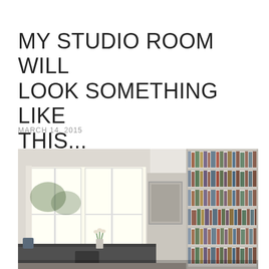MY STUDIO ROOM WILL LOOK SOMETHING LIKE THIS...
MARCH 14, 2015
[Figure (photo): Interior photo of a home studio room with large windows on the left letting in natural light, a dark work desk in the foreground, and a tall white built-in bookshelf filled with books on the right side of the room. A framed picture hangs on the wall and a small vase with flowers sits on a surface near the window.]